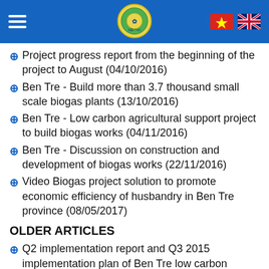Navigation header with logo, hamburger menu, Vietnamese and UK flags
Project progress report from the beginning of the project to August (04/10/2016)
Ben Tre - Build more than 3.7 thousand small scale biogas plants (13/10/2016)
Ben Tre - Low carbon agricultural support project to build biogas works (04/11/2016)
Ben Tre - Discussion on construction and development of biogas works (22/11/2016)
Video Biogas project solution to promote economic efficiency of husbandry in Ben Tre province (08/05/2017)
OLDER ARTICLES
Q2 implementation report and Q3 2015 implementation plan of Ben Tre low carbon agricultural production management board (14/09/2016)